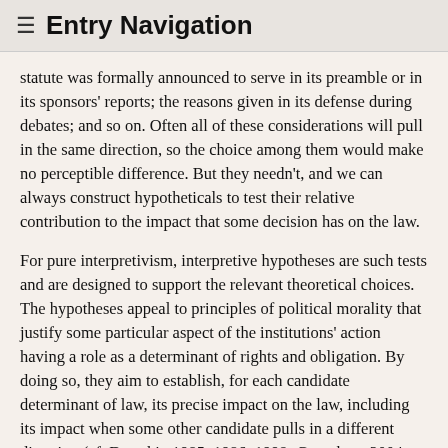≡ Entry Navigation
statute was formally announced to serve in its preamble or in its sponsors' reports; the reasons given in its defense during debates; and so on. Often all of these considerations will pull in the same direction, so the choice among them would make no perceptible difference. But they needn't, and we can always construct hypotheticals to test their relative contribution to the impact that some decision has on the law.
For pure interpretivism, interpretive hypotheses are such tests and are designed to support the relevant theoretical choices. The hypotheses appeal to principles of political morality that justify some particular aspect of the institutions' action having a role as a determinant of rights and obligation. By doing so, they aim to establish, for each candidate determinant of law, its precise impact on the law, including its impact when some other candidate pulls in a different direction (cf. Dworkin 1985, 1986, 1998; Greenberg 2004; Stavropoulos 2013).
Candidate relevant factors include considerations — texts